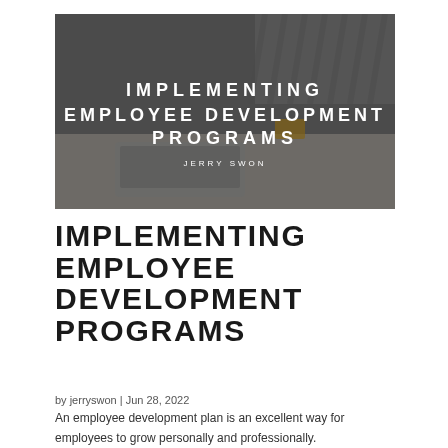[Figure (photo): Hero image of people at a meeting table with text overlay: IMPLEMENTING EMPLOYEE DEVELOPMENT PROGRAMS by JERRY SWON]
IMPLEMENTING EMPLOYEE DEVELOPMENT PROGRAMS
by jerryswon | Jun 28, 2022
An employee development plan is an excellent way for employees to grow personally and professionally.